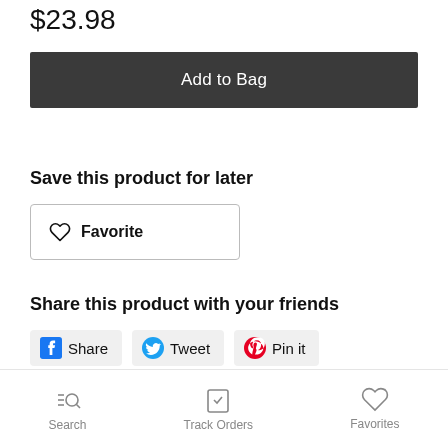$23.98
Add to Bag
Save this product for later
Favorite
Share this product with your friends
Share  Tweet  Pin it
Search  Track Orders  Favorites